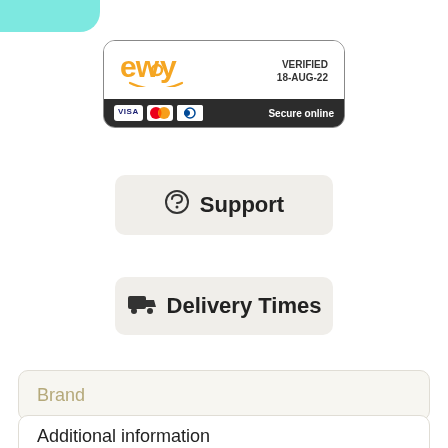[Figure (logo): eWay payment gateway badge showing VERIFIED 18-AUG-22 with VISA, Mastercard, Diners Club logos and Secure online text]
Support
Delivery Times
Brand
Additional information